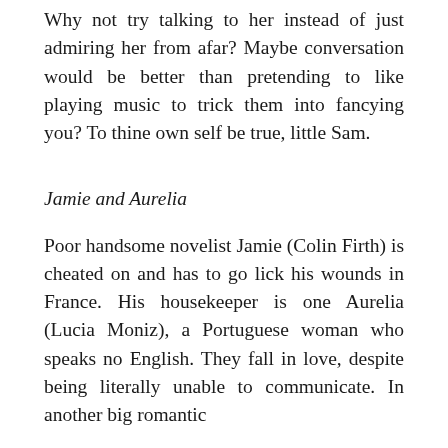Why not try talking to her instead of just admiring her from afar? Maybe conversation would be better than pretending to like playing music to trick them into fancying you? To thine own self be true, little Sam.
Jamie and Aurelia
Poor handsome novelist Jamie (Colin Firth) is cheated on and has to go lick his wounds in France. His housekeeper is one Aurelia (Lucia Moniz), a Portuguese woman who speaks no English. They fall in love, despite being literally unable to communicate. In another big romantic